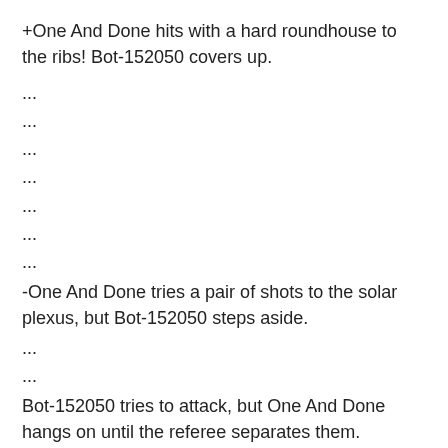+One And Done hits with a hard roundhouse to the ribs! Bot-152050 covers up.
...
...
...
...
...
...
...
-One And Done tries a pair of shots to the solar plexus, but Bot-152050 steps aside.
...
...
Bot-152050 tries to attack, but One And Done hangs on until the referee separates them.
...
-One And Done fires a pair of shots to the solar plexus, but loses his balance.